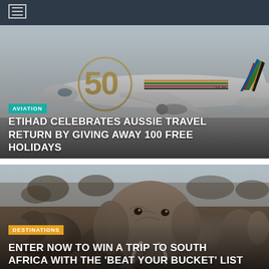Navigation menu
[Figure (photo): Etihad Airways airplane on tarmac with '50' anniversary livery, colorful stripes on tail]
AVIATION
ETIHAD CELEBRATES AUSSIE TRAVEL RETURN BY GIVING AWAY 100 FREE HOLIDAYS
[Figure (photo): Close-up of elephants in South Africa, large elephant in foreground]
DESTINATIONS
ENTER NOW TO WIN A TRIP TO SOUTH AFRICA WITH THE 'BEAT YOUR BUCKET' LIST